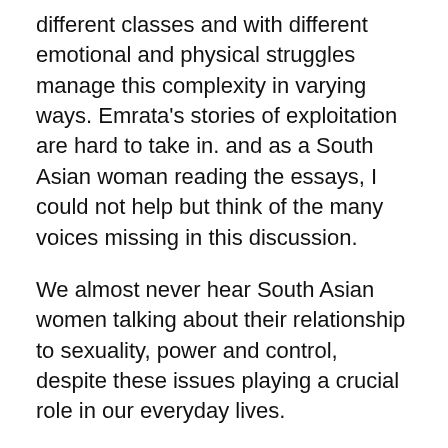different classes and with different emotional and physical struggles manage this complexity in varying ways. Emrata's stories of exploitation are hard to take in. and as a South Asian woman reading the essays, I could not help but think of the many voices missing in this discussion.
We almost never hear South Asian women talking about their relationship to sexuality, power and control, despite these issues playing a crucial role in our everyday lives.
It's often not a topic we feel comfortable deconstructing.